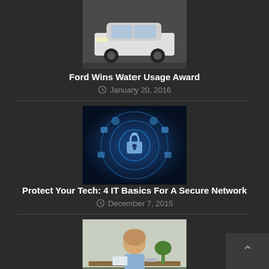[Figure (photo): Photo of a white Ford car from the front]
Ford Wins Water Usage Award
January 20, 2016
[Figure (photo): Cybersecurity digital padlock image with blue glowing circles and icons]
Protect Your Tech: 4 IT Basics For A Secure Network
December 7, 2015
[Figure (photo): Professional woman sitting at a desk in an office setting]
Network Security Basics For Your Home Business